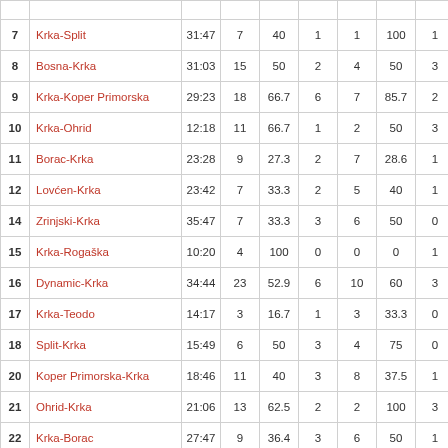| # | Match | Time | Col1 | Col2 | Col3 | Col4 | Col5 | Col6 |
| --- | --- | --- | --- | --- | --- | --- | --- | --- |
| 7 | Krka-Split | 31:47 | 7 | 40 | 1 | 1 | 100 | 1 |
| 8 | Bosna-Krka | 31:03 | 15 | 50 | 2 | 4 | 50 | 3 |
| 9 | Krka-Koper Primorska | 29:23 | 18 | 66.7 | 6 | 7 | 85.7 | 2 |
| 10 | Krka-Ohrid | 12:18 | 11 | 66.7 | 1 | 2 | 50 | 3 |
| 11 | Borac-Krka | 23:28 | 9 | 27.3 | 2 | 7 | 28.6 | 1 |
| 12 | Lovćen-Krka | 23:42 | 7 | 33.3 | 2 | 5 | 40 | 1 |
| 14 | Zrinjski-Krka | 35:47 | 7 | 33.3 | 3 | 6 | 50 | 0 |
| 15 | Krka-Rogaška | 10:20 | 4 | 100 | 0 | 0 | 0 | 1 |
| 16 | Dynamic-Krka | 34:44 | 23 | 52.9 | 6 | 10 | 60 | 3 |
| 17 | Krka-Teodo | 14:17 | 3 | 16.7 | 1 | 3 | 33.3 | 0 |
| 18 | Split-Krka | 15:49 | 6 | 50 | 3 | 4 | 75 | 0 |
| 20 | Koper Primorska-Krka | 18:46 | 11 | 40 | 3 | 8 | 37.5 | 1 |
| 21 | Ohrid-Krka | 21:06 | 13 | 62.5 | 2 | 2 | 100 | 3 |
| 22 | Krka-Borac | 27:47 | 9 | 36.4 | 3 | 6 | 50 | 1 |